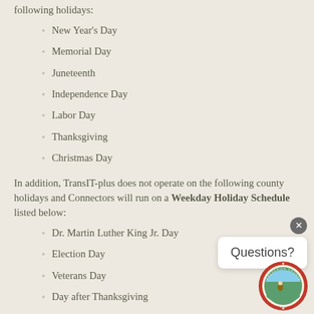following holidays:
New Year's Day
Memorial Day
Juneteenth
Independence Day
Labor Day
Thanksgiving
Christmas Day
In addition, TransIT-plus does not operate on the following county holidays and Connectors will run on a Weekday Holiday Schedule listed below:
Dr. Martin Luther King Jr. Day
Election Day
Veterans Day
Day after Thanksgiving
Christmas Eve
[Figure (illustration): Frederick County Maryland government seal, circular badge with red border and figure inside]
Questions?